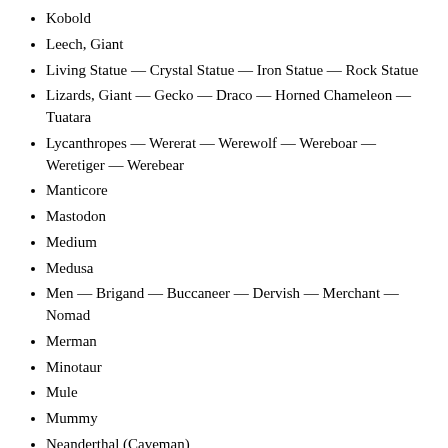Kobold
Leech, Giant
Living Statue — Crystal Statue — Iron Statue — Rock Statue
Lizards, Giant — Gecko — Draco — Horned Chameleon — Tuatara
Lycanthropes — Wererat — Werewolf — Wereboar — Weretiger — Werebear
Manticore
Mastodon
Medium
Medusa
Men — Brigand — Buccaneer — Dervish — Merchant — Nomad
Merman
Minotaur
Mule
Mummy
Neanderthal (Caveman)
Noble
Normal Human
Nixies
NPC Parties — Adventurers — Cleric — Fighter — Magic-User
Ochre Jelly